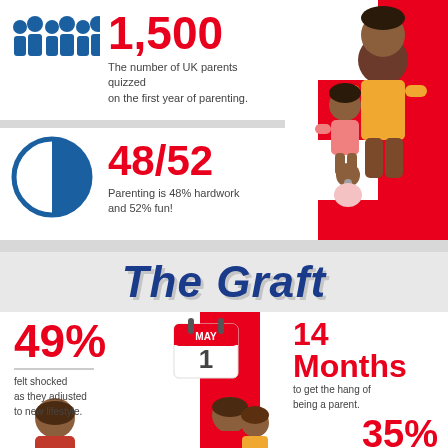[Figure (infographic): Blue silhouette icons of 6 people (parents/family group)]
1,500
The number of UK parents quizzed on the first year of parenting.
[Figure (infographic): Half-filled circle icon (left half outline, right half solid blue) representing 48/52 split]
48/52
Parenting is 48% hardwork and 52% fun!
The Graft
49%
felt shocked as they adjusted to new lifestyle.
[Figure (infographic): Calendar icon showing MAY 1]
14 Months
to get the hang of being a parent.
35%